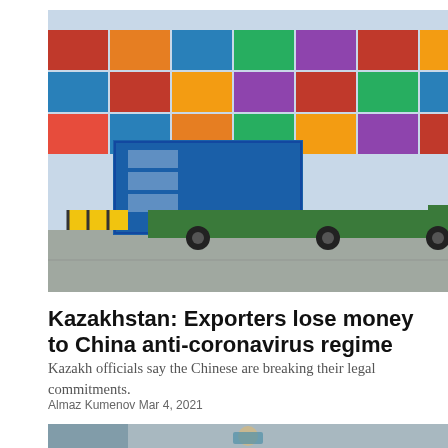[Figure (photo): Stacked colorful shipping containers at a port/logistics facility with a truck visible]
Kazakhstan: Exporters lose money to China anti-coronavirus regime
Kazakh officials say the Chinese are breaking their legal commitments.
Almaz Kumenov Mar 4, 2021
[Figure (photo): A person in medical protective gear including mask and face shield, seen through glass]